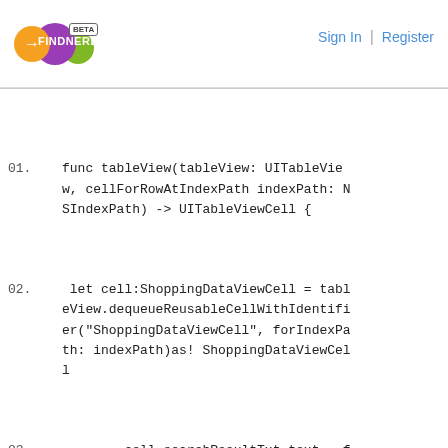FINDNERD BETA | Sign In | Register
[Figure (screenshot): Code block showing Swift UITableView delegate methods including tableView:cellForRowAtIndexPath and tableView:numberOfRowsInSection]
01.  func tableView(tableView: UITableView, cellForRowAtIndexPath indexPath: NSIndexPath) -> UITableViewCell {
02.   let cell:ShoppingDataViewCell = tableView.dequeueReusableCellWithIdentifier("ShoppingDataViewCell", forIndexPath: indexPath)as! ShoppingDataViewCell
03.          cell.searchResultTxt.text = filteredArray[indexPath.row] as! String
04.          return cell
05.   }
06.
07.   func tableView(tableView: UITableView, numberOfRowsInSection section: Int) -> Int {
08.       return filteredArray.count;
09.   }